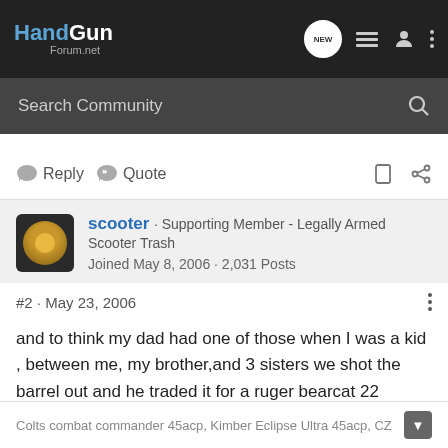HandGun Forum.net
Search Community
Reply  Quote
scooter · Supporting Member - Legally Armed Scooter Trash
Joined May 8, 2006 · 2,031 Posts
#2 · May 23, 2006
and to think my dad had one of those when I was a kid , between me, my brother,and 3 sisters we shot the barrel out and he traded it for a ruger bearcat 22
Colts combat commander 45acp, Kimber Eclipse Ultra 45acp, CZ